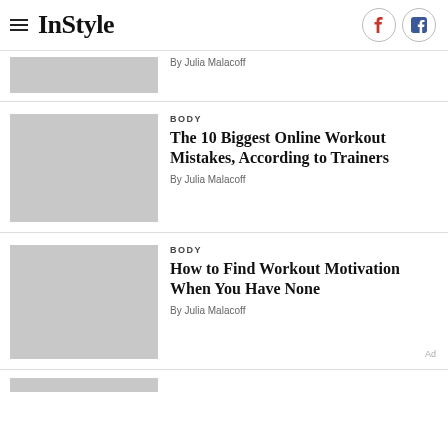InStyle
By Julia Malacoff
BODY
The 10 Biggest Online Workout Mistakes, According to Trainers
By Julia Malacoff
BODY
How to Find Workout Motivation When You Have None
By Julia Malacoff